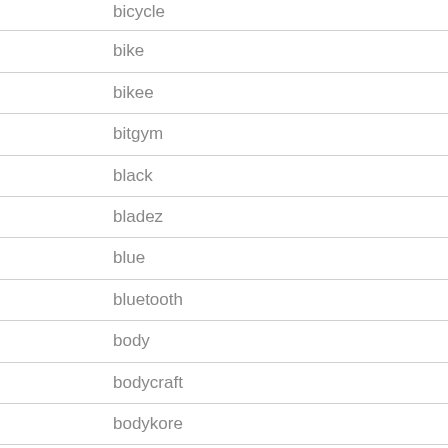bicycle
bike
bikee
bitgym
black
bladez
blue
bluetooth
body
bodycraft
bodykore
bodymax